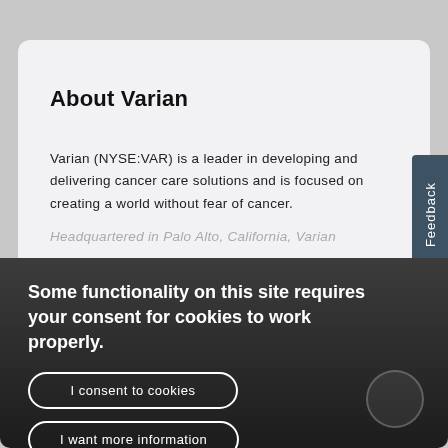About Varian
Varian (NYSE:VAR) is a leader in developing and delivering cancer care solutions and is focused on creating a world without fear of cancer.
Headquartered in Palo Alto, California, Varian
Some functionality on this site requires your consent for cookies to work properly.
I consent to cookies
I want more information